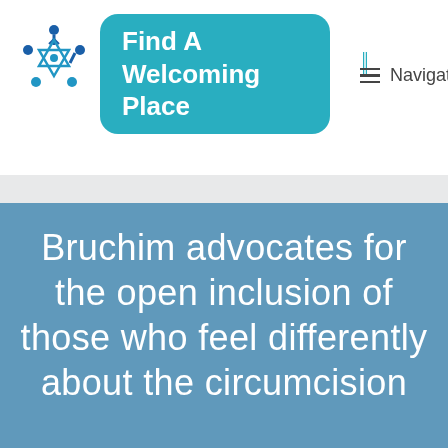[Figure (logo): Bruchim star-of-David style logo with people figures in blue]
Find A Welcoming Place
[Figure (illustration): Open book icon in white]
Navigation
Bruchim advocates for the open inclusion of those who feel differently about the circumcision